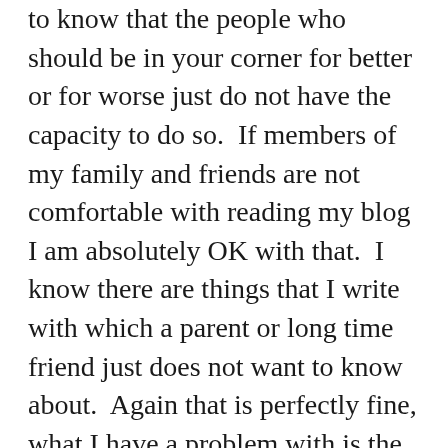to know that the people who should be in your corner for better or for worse just do not have the capacity to do so.  If members of my family and friends are not comfortable with reading my blog I am absolutely OK with that.  I know there are things that I write with which a parent or long time friend just does not want to know about.  Again that is perfectly fine, what I have a problem with is the people who have decided to treat me different as a result.  It is one thing to have different views and opinions, it is quite another to allow those views sour a relationship.  If you do not have the strength to say that you do not like something about me and would rather let it fester until the relationship dissolves itself then that is all on you.  Also to try and attack me through my